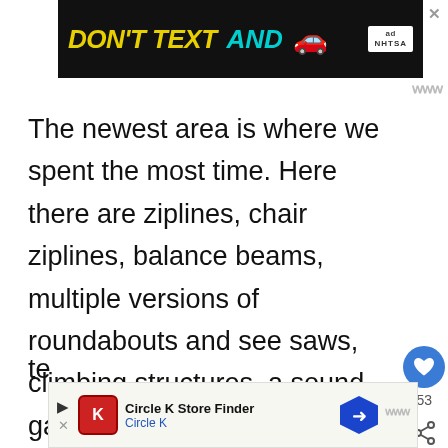[Figure (screenshot): Advertisement banner: black background with yellow italic 'DON'T TEXT AND' text in cyan, red car emoji, and NHTSA ad badge with close X button]
The newest area is where we spent the most time. Here there are ziplines, chair ziplines, balance beams, multiple versions of roundabouts and see saws, climbing structures, a sound garden, and more! In the more traditional playground areas there are also plenty of slides. The playground and park are largely shaded (hence the name, Christmas Tree Park) and there is space to run around. Local youth sports
[Figure (screenshot): Circle K Store Finder advertisement banner at bottom of page]